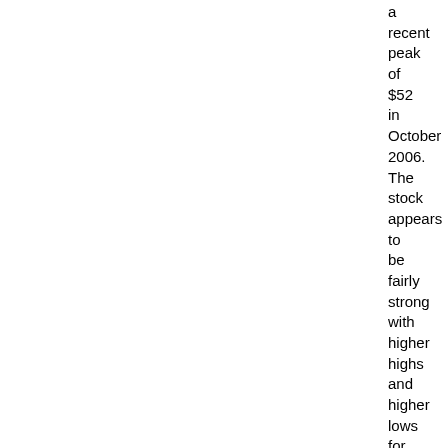a recent peak of $52 in October 2006. The stock appears to be fairly strong with higher highs and higher lows for the last several years